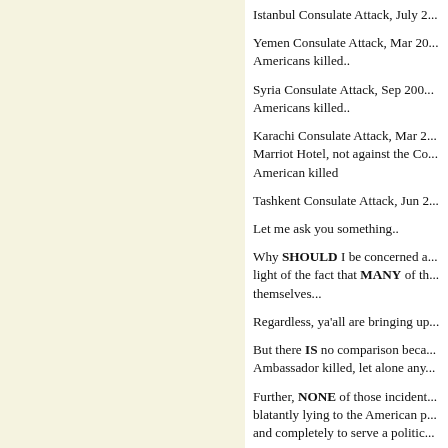Istanbul Consulate Attack, July 2...
Yemen Consulate Attack, Mar 20... Americans killed..
Syria Consulate Attack, Sep 200... Americans killed..
Karachi Consulate Attack, Mar 2... Marriot Hotel, not against the Co... American killed
Tashkent Consulate Attack, Jun 2...
Let me ask you something..
Why SHOULD I be concerned a... light of the fact that MANY of th... themselves...
Regardless, ya'all are bringing up...
But there IS no comparison beca... Ambassador killed, let alone any...
Further, NONE of those incident... blatantly lying to the American p... and completely to serve a politic...
So, there is absolutely NOTHING...
The ONLY common factor is tha...